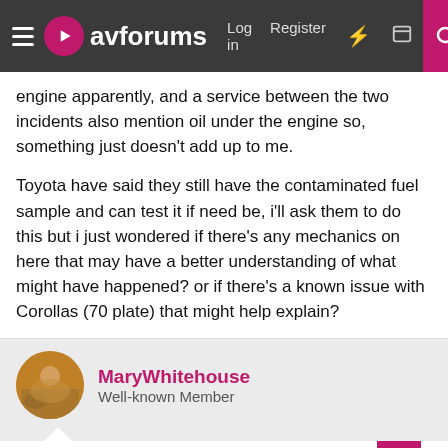avforums — Log in  Register
engine apparently, and a service between the two incidents also mention oil under the engine so, something just doesn't add up to me.
Toyota have said they still have the contaminated fuel sample and can test it if need be, i'll ask them to do this but i just wondered if there's any mechanics on here that may have a better understanding of what might have happened? or if there's a known issue with Corollas (70 plate) that might help explain?
MaryWhitehouse
Well-known Member
Feb 12, 2022  #2
Does it have a tracker? If so might be able to see where it didn't break down and didn't get filled with the wrong can?